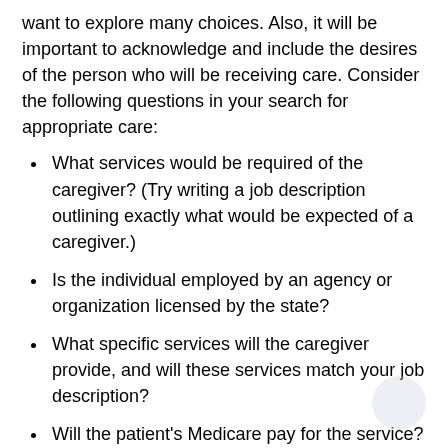want to explore many choices. Also, it will be important to acknowledge and include the desires of the person who will be receiving care. Consider the following questions in your search for appropriate care:
What services would be required of the caregiver? (Try writing a job description outlining exactly what would be expected of a caregiver.)
Is the individual employed by an agency or organization licensed by the state?
What specific services will the caregiver provide, and will these services match your job description?
Will the patient's Medicare pay for the service? If not, decide exactly how services will be paid.
What are the qualifications of the person or people giving care?
Will the same person or people always be available,